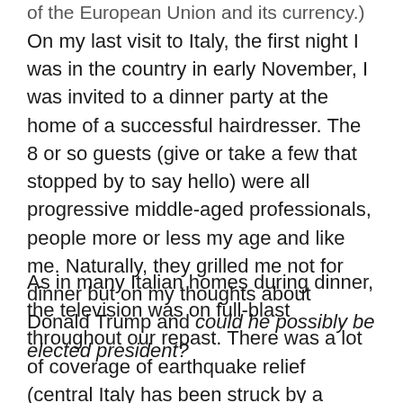of the European Union and its currency.)
On my last visit to Italy, the first night I was in the country in early November, I was invited to a dinner party at the home of a successful hairdresser. The 8 or so guests (give or take a few that stopped by to say hello) were all progressive middle-aged professionals, people more or less my age and like me. Naturally, they grilled me not for dinner but on my thoughts about Donald Trump and could he possibly be elected president?
As in many Italian homes during dinner, the television was on full-blast throughout our repast. There was a lot of coverage of earthquake relief (central Italy has been struck by a series of major earthquakes this year and many ill-prepared hilltop towns there have been devastated by the powerful seismic activity). Art